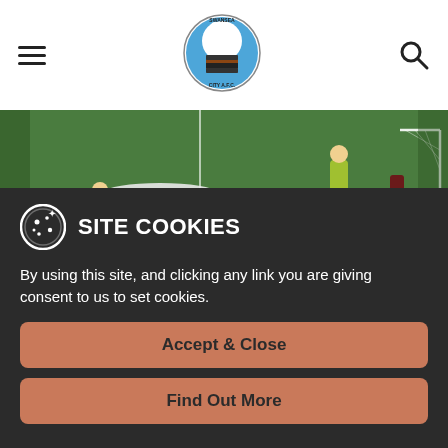[Figure (logo): Swansea City AFC circular logo with swan and shield]
[Figure (photo): Football match photo showing players on the pitch, one lying on the ground]
Solid. The Reds have lost just once in all competition this season, and that came back
SITE COOKIES
By using this site, and clicking any link you are giving consent to us to set cookies.
Accept & Close
Find Out More